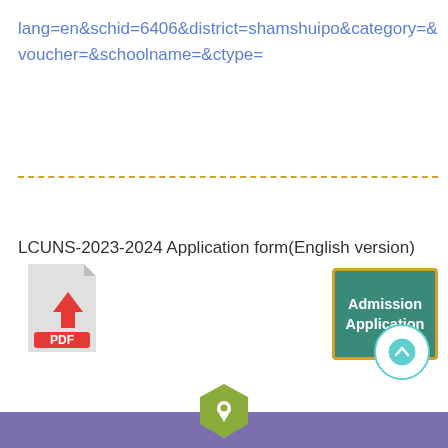lang=en&schid=6406&district=shamshuipo&category=&voucher=&schoolname=&ctype=
[Figure (other): Dashed orange/yellow horizontal divider line]
LCUNS-2023-2024 Application form(English version)
[Figure (other): PDF download icon - grey document with red arrow and red PDF label]
[Figure (other): Admission Application button with yellow border and dark green background]
[Figure (other): Teal circular back-to-top button with upward chevron]
[Figure (other): Purple footer bar with green hexagon location pin icon in center]